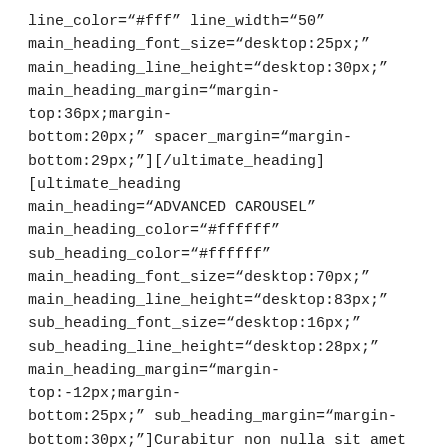line_color="#fff" line_width="50" main_heading_font_size="desktop:25px;" main_heading_line_height="desktop:30px;" main_heading_margin="margin-top:36px;margin-bottom:20px;" spacer_margin="margin-bottom:29px;"][/ultimate_heading][ultimate_heading main_heading="ADVANCED CAROUSEL" main_heading_color="#ffffff" sub_heading_color="#ffffff" main_heading_font_size="desktop:70px;" main_heading_line_height="desktop:83px;" sub_heading_font_size="desktop:16px;" sub_heading_line_height="desktop:28px;" main_heading_margin="margin-top:-12px;margin-bottom:25px;" sub_heading_margin="margin-bottom:30px;"]Curabitur non nulla sit amet nisl tempus convallis quis ac lectus. Quisque velit nisi, pretium ut lacinia in, elementum id enim.